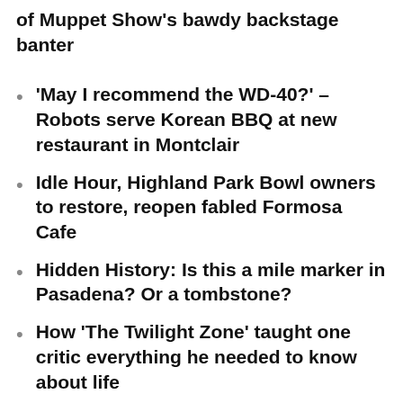of Muppet Show's bawdy backstage banter
'May I recommend the WD-40?' – Robots serve Korean BBQ at new restaurant in Montclair
Idle Hour, Highland Park Bowl owners to restore, reopen fabled Formosa Cafe
Hidden History: Is this a mile marker in Pasadena? Or a tombstone?
How 'The Twilight Zone' taught one critic everything he needed to know about life
Review: Marisa Merz at the Hammer
Off-Ramp Recommends: Expanding your